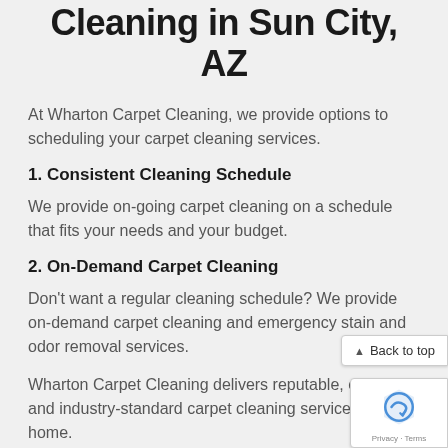Professional Carpet Cleaning in Sun City, AZ
At Wharton Carpet Cleaning, we provide options to scheduling your carpet cleaning services.
1. Consistent Cleaning Schedule
We provide on-going carpet cleaning on a schedule that fits your needs and your budget.
2. On-Demand Carpet Cleaning
Don't want a regular cleaning schedule? We provide on-demand carpet cleaning and emergency stain and odor removal services.
Wharton Carpet Cleaning delivers reputable, ethical, and industry-standard carpet cleaning services for your home.